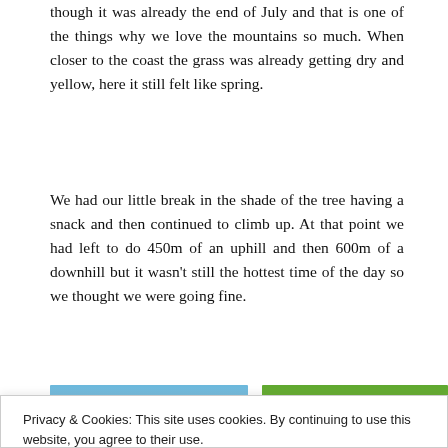though it was already the end of July and that is one of the things why we love the mountains so much. When closer to the coast the grass was already getting dry and yellow, here it still felt like spring.
We had our little break in the shade of the tree having a snack and then continued to climb up. At that point we had left to do 450m of an uphill and then 600m of a downhill but it wasn't still the hottest time of the day so we thought we were going fine.
[Figure (photo): Two hikers with backpacks resting in a sunny outdoor area with blue sky]
[Figure (photo): Hikers with backpacks walking through a forested trail with green trees]
Privacy & Cookies: This site uses cookies. By continuing to use this website, you agree to their use.
To find out more, including how to control cookies, see here: Cookie Policy
Close and accept